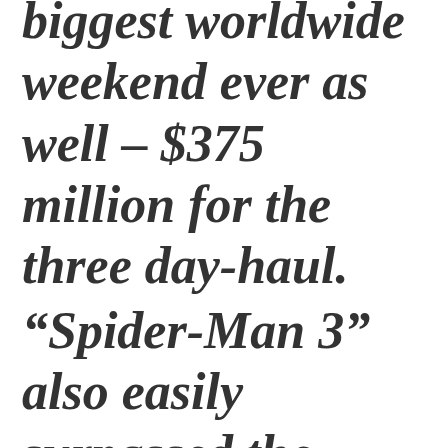biggest worldwide weekend ever as well – $375 million for the three day-haul.
“Spider-Man 3” also easily surpassed the track records of the